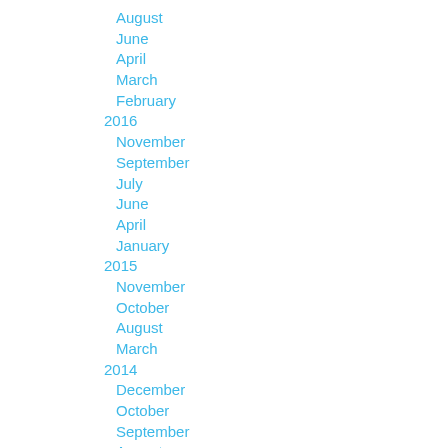August
June
April
March
February
2016
November
September
July
June
April
January
2015
November
October
August
March
2014
December
October
September
August
July